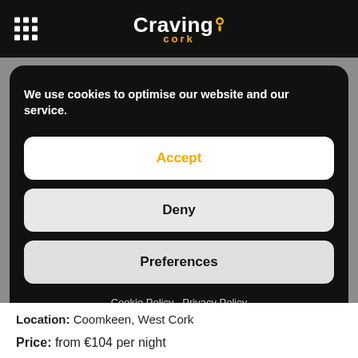Craving Cork
Well, we do too, and we have just the ticket.
We use cookies to optimise our website and our service.
Accept
Deny
Preferences
Cookie Policy   Privacy Policy
Location: Coomkeen, West Cork
Price: from €104 per night